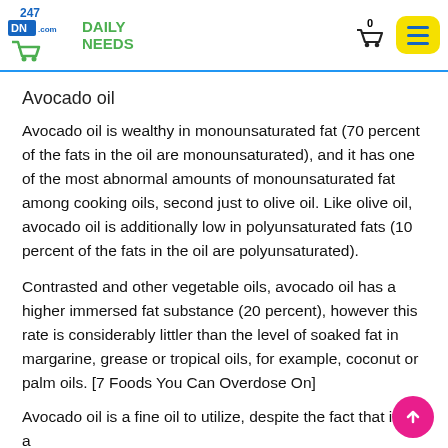247 Daily Needs
Avocado oil
Avocado oil is wealthy in monounsaturated fat (70 percent of the fats in the oil are monounsaturated), and it has one of the most abnormal amounts of monounsaturated fat among cooking oils, second just to olive oil. Like olive oil, avocado oil is additionally low in polyunsaturated fats (10 percent of the fats in the oil are polyunsaturated).
Contrasted and other vegetable oils, avocado oil has a higher immersed fat substance (20 percent), however this rate is considerably littler than the level of soaked fat in margarine, grease or tropical oils, for example, coconut or palm oils. [7 Foods You Can Overdose On]
Avocado oil is a fine oil to utilize, despite the fact that it has a